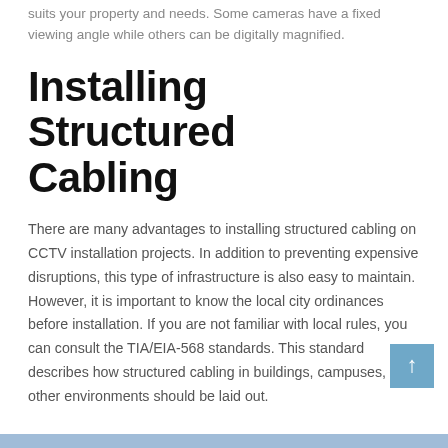suits your property and needs. Some cameras have a fixed viewing angle while others can be digitally magnified.
Installing Structured Cabling
There are many advantages to installing structured cabling on CCTV installation projects. In addition to preventing expensive disruptions, this type of infrastructure is also easy to maintain. However, it is important to know the local city ordinances before installation. If you are not familiar with local rules, you can consult the TIA/EIA-568 standards. This standard describes how structured cabling in buildings, campuses, and other environments should be laid out.
Protecting Your Privacy